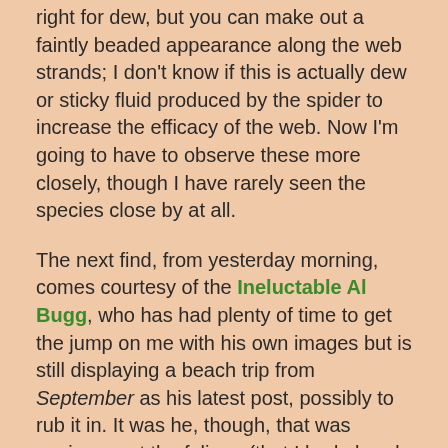right for dew, but you can make out a faintly beaded appearance along the web strands; I don't know if this is actually dew or sticky fluid produced by the spider to increase the efficacy of the web. Now I'm going to have to observe these more closely, though I have rarely seen the species close by at all.
The next find, from yesterday morning, comes courtesy of the Ineluctable Al Bugg, who has had plenty of time to get the jump on me with his own images but is still displaying a beach trip from September as his latest post, possibly to rub it in. It was he, though, that was gazing up at the foliage (that I had already dismissed as being not interesting enough,) and said, "Hey, there's a rainbow up there!" Now, it was almost perfectly clear at that time and no rainbow was going to be showing in the direction he was facing, since they appear opposite the sun and not nearly straight up, but I figured he had spotted a sundog. The canopy was thick and I had to wander back and forth a bit to make it out, but